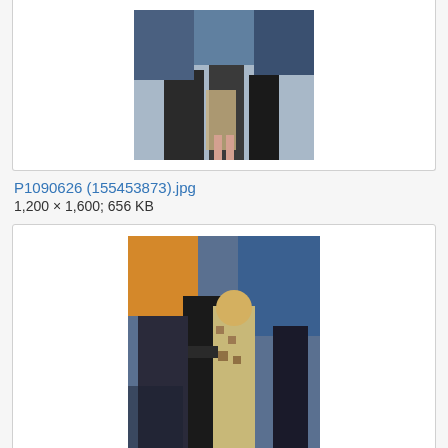[Figure (photo): Top portion of a photo showing people at what appears to be a film premiere event, partially cropped at top]
P1090626 (155453873).jpg
1,200 × 1,600; 656 KB
[Figure (photo): Photo of people at a film premiere, showing a woman in a floral/patterned dress being embraced from behind, with movie poster backdrop visible]
P1090648 (155457718).jpg
1,200 × 1,600; 668 KB
[Figure (photo): Partial photo at bottom showing people at what appears to be the same premiere event, cropped at bottom]